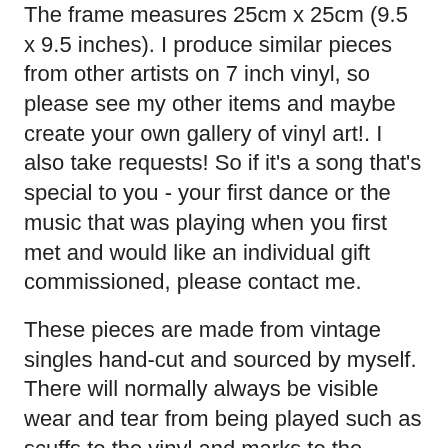The frame measures 25cm x 25cm (9.5 x 9.5 inches). I produce similar pieces from other artists on 7 inch vinyl, so please see my other items and maybe create your own gallery of vinyl art!. I also take requests! So if it's a song that's special to you - your first dance or the music that was playing when you first met and would like an individual gift commissioned, please contact me.
These pieces are made from vintage singles hand-cut and sourced by myself. There will normally always be visible wear and tear from being played such as scuffs to the vinyl and marks to the labels. This adds to the authenticity of the piece. Now, cut into novel shapes you can now appreciate not only some of your favourite records but now as a piece of individual art. Please note vinyl style of label may change slightly depending on availability when sourcing the record.
International customers please note, delivery via airmail